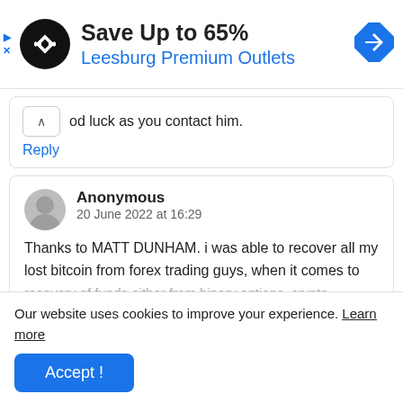[Figure (infographic): Advertisement banner: black circular logo with double arrow icon, text 'Save Up to 65%' and 'Leesburg Premium Outlets' in blue, blue diamond navigation icon on right, play and close icons on left]
od luck as you contact him.
Reply
Anonymous
20 June 2022 at 16:29
Thanks to MATT DUNHAM. i was able to recover all my lost bitcoin from forex trading guys, when it comes to recovery of funds either from binary options, crypto...
Our website uses cookies to improve your experience. Learn more
Accept !